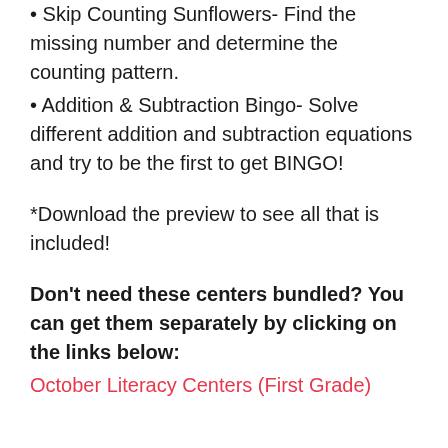• Skip Counting Sunflowers- Find the missing number and determine the counting pattern.
• Addition & Subtraction Bingo- Solve different addition and subtraction equations and try to be the first to get BINGO!
*Download the preview to see all that is included!
Don't need these centers bundled? You can get them separately by clicking on the links below:
October Literacy Centers (First Grade)